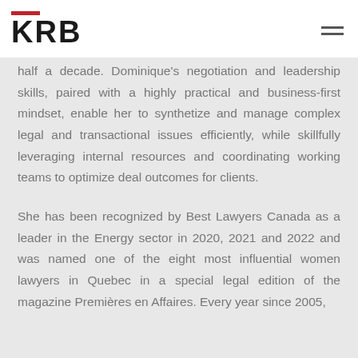KRB
half a decade. Dominique's negotiation and leadership skills, paired with a highly practical and business-first mindset, enable her to synthetize and manage complex legal and transactional issues efficiently, while skillfully leveraging internal resources and coordinating working teams to optimize deal outcomes for clients.
She has been recognized by Best Lawyers Canada as a leader in the Energy sector in 2020, 2021 and 2022 and was named one of the eight most influential women lawyers in Quebec in a special legal edition of the magazine Premières en Affaires. Every year since 2005,